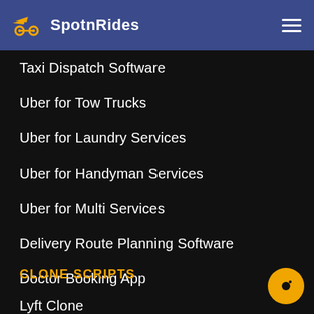SpotnRides
Taxi Dispatch Software
Uber for Tow Trucks
Uber for Laundry Services
Uber for Handyman Services
Uber for Multi Services
Delivery Route Planning Software
Doctor Booking App
CLONE SCRIPTS
Lyft Clone
Gojek Clone
Cabify Clone
Grab Clone